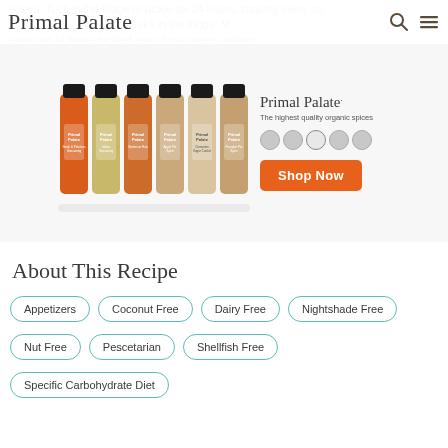Primal Palate
mixed. Tuck in the fridge to pickle for 24 hours, shaking every so often. Store for up to 2 weeks in the fridge. Make deviled eggs out of these pickled eggs for a cheery delight.
[Figure (photo): Advertisement banner for Primal Palate organic spices featuring six spice bottles and a Shop Now button]
About This Recipe
Appetizers
Coconut Free
Dairy Free
Nightshade Free
Nut Free
Pescetarian
Shellfish Free
Specific Carbohydrate Diet